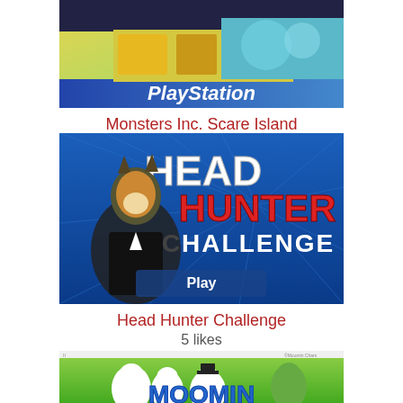[Figure (screenshot): PlayStation game box cover for Monsters Inc. Scare Island]
Monsters Inc. Scare Island
5 likes
[Figure (screenshot): Head Hunter Challenge game title screen with fox character in tuxedo]
Head Hunter Challenge
5 likes
[Figure (screenshot): Moomin characters illustration with MOOMIN logo text]